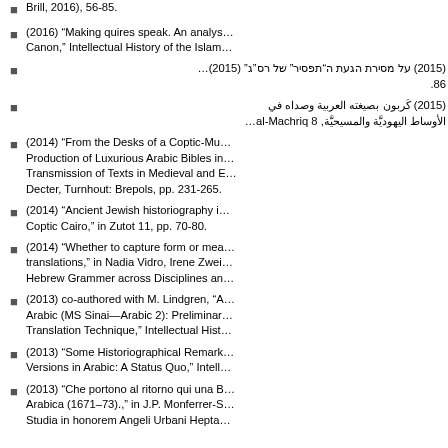Brill, 2016), 56-85.
(2016) “Making quires speak. An analys… Canon,” Intellectual History of the Islam…
(2015) על מסירת הגעת התפסיר״ של רס״ג״ (2015)… 86.
(2015) كَربون بصيغته العربية وصداه في الأوساط اليهوديَّة والمسيحيَّة, al-Machriq 8…
(2014) “From the Desks of a Coptic-Mu… Production of Luxurious Arabic Bibles in… Transmission of Texts in Medieval and E… Decter, Turnhout: Brepols, pp. 231-265.
(2014) “Ancient Jewish historiography i… Coptic Cairo,” in Zutot 11, pp. 70-80.
(2014) “Whether to capture form or mea… translations,” in Nadia Vidro, Irene Zwei… Hebrew Grammer across Disciplines an…
(2013) co-authored with M. Lindgren, “A… Arabic (MS Sinai—Arabic 2): Preliminar… Translation Technique,” Intellectual Hist…
(2013) “Some Historiographical Remark… Versions in Arabic: A Status Quo,” Intell…
(2013) “Che portono al ritorno qui una B… Arabica (1671–73).,” in J.P. Monferrer-S… Studia in honorem Angeli Urbani Hepta…